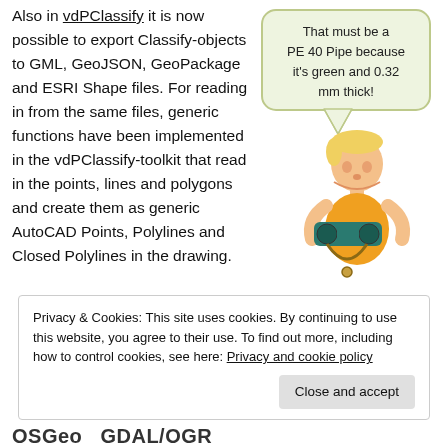Also in vdPClassify it is now possible to export Classify-objects to GML, GeoJSON, GeoPackage and ESRI Shape files. For reading in from the same files, generic functions have been implemented in the vdPClassify-toolkit that read in the points, lines and polygons and create them as generic AutoCAD Points, Polylines and Closed Polylines in the drawing.
[Figure (illustration): A cartoon character holding binoculars with a speech bubble saying 'That must be a PE 40 Pipe because it's green and 0.32 mm thick!']
Privacy & Cookies: This site uses cookies. By continuing to use this website, you agree to their use. To find out more, including how to control cookies, see here: Privacy and cookie policy
Close and accept
OSGeo GDAL/OGR